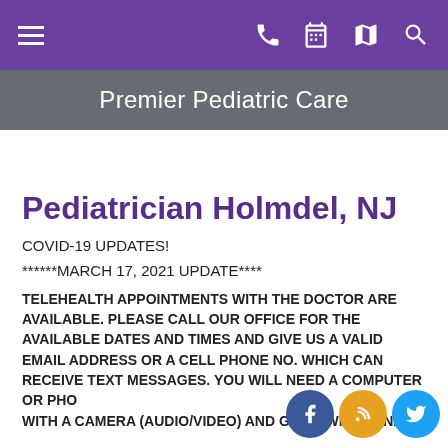Premier Pediatric Care
Pediatrician Holmdel, NJ
COVID-19 UPDATES!
******MARCH 17, 2021 UPDATE****
TELEHEALTH APPOINTMENTS WITH THE DOCTOR ARE AVAILABLE. PLEASE CALL OUR OFFICE FOR THE AVAILABLE DATES AND TIMES AND GIVE US A VALID EMAIL ADDRESS OR A CELL PHONE NO. WHICH CAN RECEIVE TEXT MESSAGES. YOU WILL NEED A COMPUTER OR PHONE WITH A CAMERA (AUDIO/VIDEO) AND GOOD WIFI SIGNAL